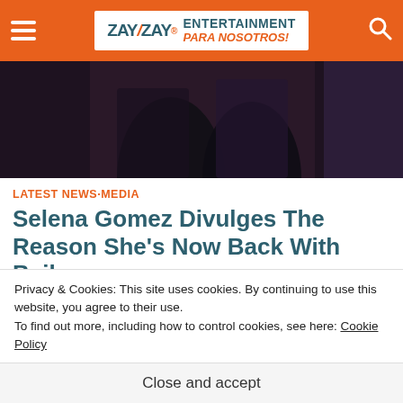ZayZay ENTERTAINMENT PARA NOSOTROS!
[Figure (photo): Dark photo of people, partially visible at top of article]
LATEST NEWS·MEDIA
Selena Gomez Divulges The Reason She's Now Back With Beiber
December 1, 2017
Time is finally on Selena Gomez and Justin Bieber's side. Gomez has been
Privacy & Cookies: This site uses cookies. By continuing to use this website, you agree to their use.
To find out more, including how to control cookies, see here: Cookie Policy
Close and accept